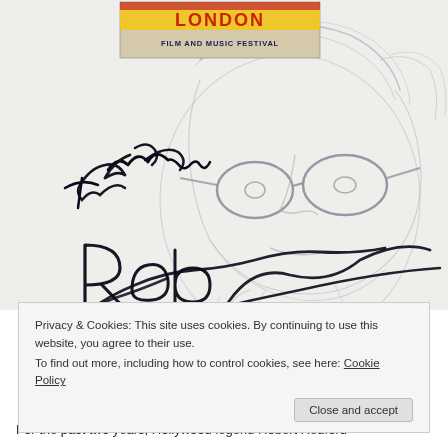[Figure (illustration): Pencil sketch portrait of a man with glasses and thinning hair, resting his chin on his hand. Overlaid with a handwritten autograph reading 'To Mark, Robert Redford' in black ink. A London Film and Music Festival ticket/badge is visible at the top of the image.]
Privacy & Cookies: This site uses cookies. By continuing to use this website, you agree to their use.
To find out more, including how to control cookies, see here: Cookie Policy
Close and accept
For the past two years, Hollywood legend Robert Redford